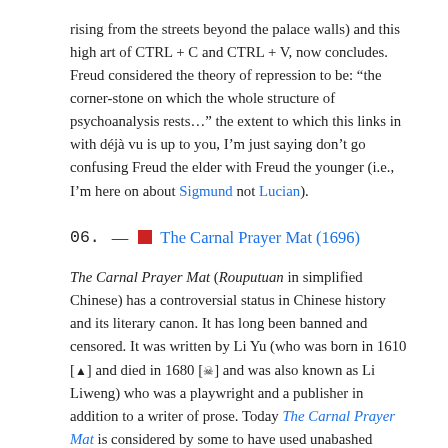rising from the streets beyond the palace walls) and this high art of CTRL + C and CTRL + V, now concludes. Freud considered the theory of repression to be: “the corner-stone on which the whole structure of psychoanalysis rests…” the extent to which this links in with déjà vu is up to you, I’m just saying don’t go confusing Freud the elder with Freud the younger (i.e., I’m here on about Sigmund not Lucian).
06. — 🟥 The Carnal Prayer Mat (1696)
The Carnal Prayer Mat (Rouputuan in simplified Chinese) has a controversial status in Chinese history and its literary canon. It has long been banned and censored. It was written by Li Yu (who was born in 1610 [▲] and died in 1680 [☠] and was also known as Li Liweng) who was a playwright and a publisher in addition to a writer of prose. Today The Carnal Prayer Mat is considered by some to have used unabashed pornographic tracts to attack Confucian puritanism. Prophetically, the book’s prologue declares that